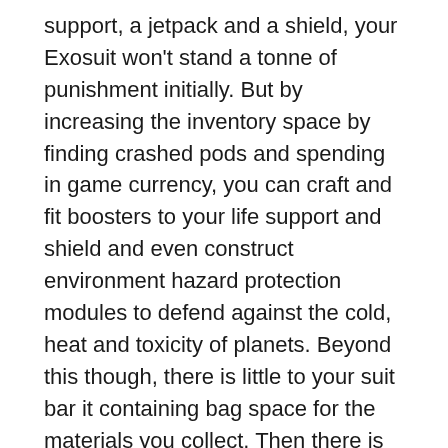support, a jetpack and a shield, your Exosuit won't stand a tonne of punishment initially. But by increasing the inventory space by finding crashed pods and spending in game currency, you can craft and fit boosters to your life support and shield and even construct environment hazard protection modules to defend against the cold, heat and toxicity of planets. Beyond this though, there is little to your suit bar it containing bag space for the materials you collect. Then there is your Multi-Tool. It has two functions, to mine and to kill. Whilst the ability to utilise it for combat is held back until further down the line, the ability to mine is instantaneous and relies on you keeping an eye on the heat levels while you do so. You can upgrade the Multi-tool as well with a number of different modules to aid cooling, mining rate, combat damage and more. Naturally, the more capacity your